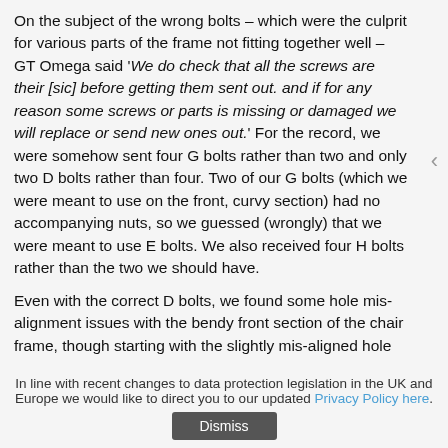On the subject of the wrong bolts – which were the culprit for various parts of the frame not fitting together well – GT Omega said 'We do check that all the screws are their [sic] before getting them sent out. and if for any reason some screws or parts is missing or damaged we will replace or send new ones out.' For the record, we were somehow sent four G bolts rather than two and only two D bolts rather than four. Two of our G bolts (which we were meant to use on the front, curvy section) had no accompanying nuts, so we guessed (wrongly) that we were meant to use E bolts. We also received four H bolts rather than the two we should have.
Even with the correct D bolts, we found some hole mis-alignment issues with the bendy front section of the chair frame, though starting with the slightly mis-aligned hole
In line with recent changes to data protection legislation in the UK and Europe we would like to direct you to our updated Privacy Policy here.